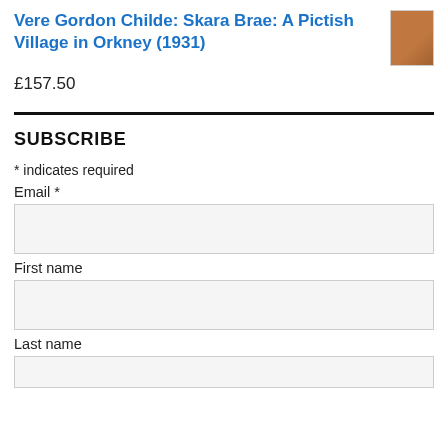Vere Gordon Childe: Skara Brae: A Pictish Village in Orkney (1931)
£157.50
SUBSCRIBE
* indicates required
Email *
First name
Last name